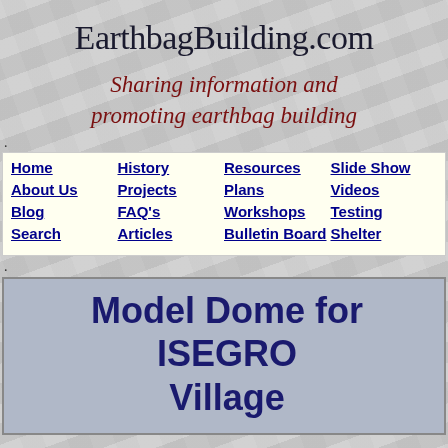EarthbagBuilding.com
Sharing information and promoting earthbag building
Home
History
Resources
Slide Show
About Us
Projects
Plans
Videos
Blog
FAQ's
Workshops
Testing
Search
Articles
Bulletin Board
Shelter
Model Dome for ISEGRO Village